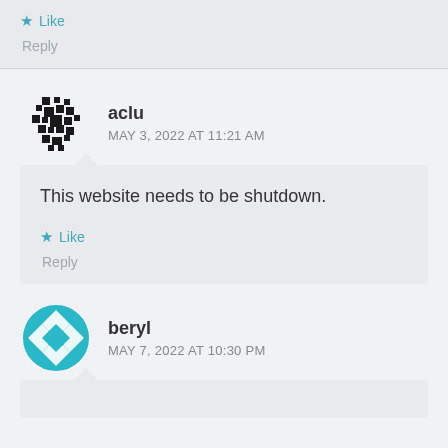★ Like
Reply
aclu
MAY 3, 2022 AT 11:21 AM
This website needs to be shutdown.
★ Like
Reply
beryl
MAY 7, 2022 AT 10:30 PM